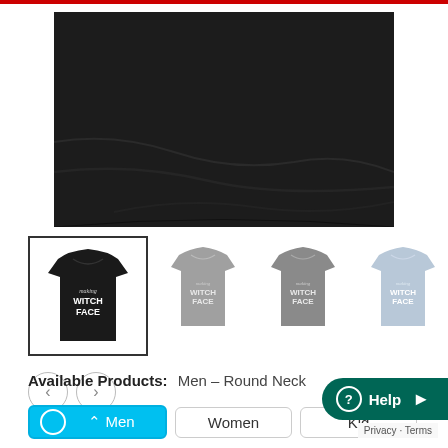[Figure (photo): Close-up of a black t-shirt fabric, cropped, showing the lower hem area on white background]
[Figure (photo): Four t-shirt color variants shown as small thumbnails: black (selected, with border), medium gray, dark gray, and light blue/heather. Each shirt shows 'making WITCH FACE' text in white.]
Available Products:   Men – Round Neck
Men
Women
Kid